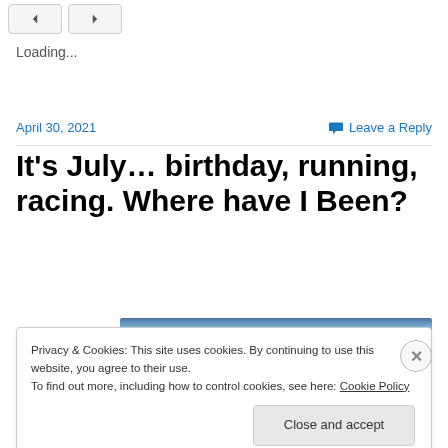[Figure (other): Navigation buttons (back/forward) at top of page]
Loading...
April 30, 2021
Leave a Reply
It's July… birthday, running, racing. Where have I Been?
[Figure (photo): Partial photo of outdoor scene with blue sky/water, cropped at top]
Privacy & Cookies: This site uses cookies. By continuing to use this website, you agree to their use.
To find out more, including how to control cookies, see here: Cookie Policy
Close and accept